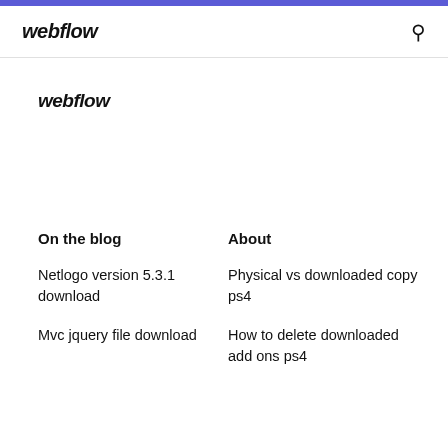webflow
webflow
On the blog
About
Netlogo version 5.3.1 download
Physical vs downloaded copy ps4
Mvc jquery file download
How to delete downloaded add ons ps4